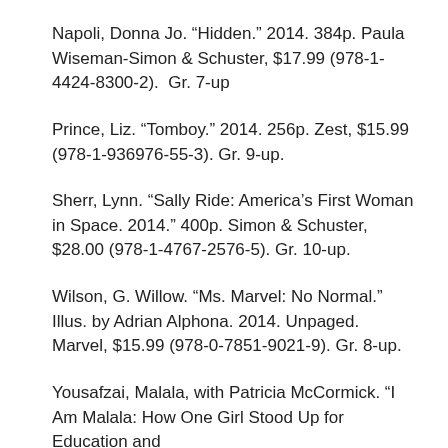Napoli, Donna Jo. “Hidden.” 2014. 384p. Paula Wiseman-Simon & Schuster, $17.99 (978-1-4424-8300-2).  Gr. 7-up
Prince, Liz. “Tomboy.” 2014. 256p. Zest, $15.99 (978-1-936976-55-3). Gr. 9-up.
Sherr, Lynn. “Sally Ride: America’s First Woman in Space. 2014.” 400p. Simon & Schuster, $28.00 (978-1-4767-2576-5). Gr. 10-up.
Wilson, G. Willow. “Ms. Marvel: No Normal.” Illus. by Adrian Alphona. 2014. Unpaged.  Marvel, $15.99 (978-0-7851-9021-9). Gr. 8-up.
Yousafzai, Malala, with Patricia McCormick. “I Am Malala: How One Girl Stood Up for Education and